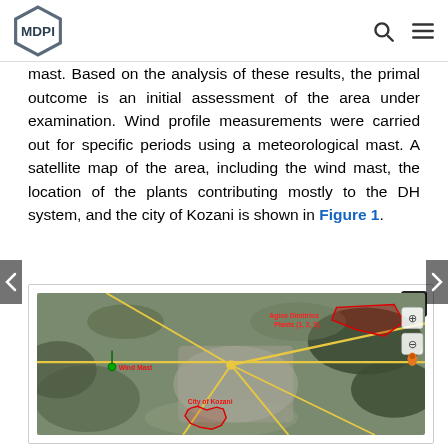MDPI
mast. Based on the analysis of these results, the primal outcome is an initial assessment of the area under examination. Wind profile measurements were carried out for specific periods using a meteorological mast. A satellite map of the area, including the wind mast, the location of the plants contributing mostly to the DH system, and the city of Kozani is shown in Figure 1.
[Figure (map): Satellite map showing the area around Kozani, Greece, with labeled locations including Wind Mast (left, marked with green pin), Agios Dimitrios Plants (upper right, marked in red outline), and City of Kozani (lower center, marked with red boundary outline). Roads shown in yellow lines. Map includes Google Maps navigation controls on the right side.]